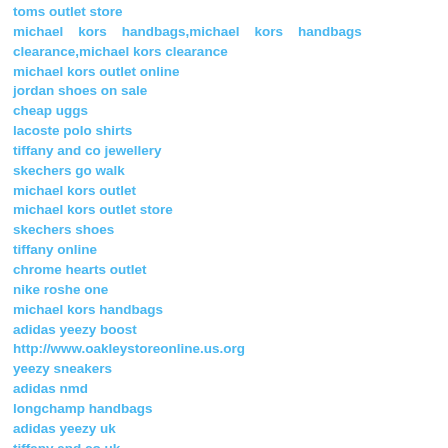toms outlet store
michael kors handbags,michael kors handbags clearance,michael kors clearance
michael kors outlet online
jordan shoes on sale
cheap uggs
lacoste polo shirts
tiffany and co jewellery
skechers go walk
michael kors outlet
michael kors outlet store
skechers shoes
tiffany online
chrome hearts outlet
nike roshe one
michael kors handbags
adidas yeezy boost
http://www.oakleystoreonline.us.org
yeezy sneakers
adidas nmd
longchamp handbags
adidas yeezy uk
tiffany and co uk